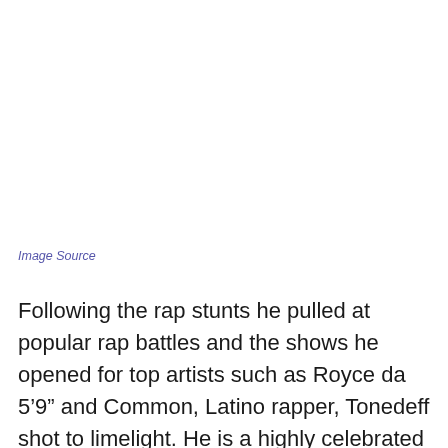Image Source
Following the rap stunts he pulled at popular rap battles and the shows he opened for top artists such as Royce da 5'9" and Common, Latino rapper, Tonedeff shot to limelight. He is a highly celebrated artist in underground hip-hop, having emerged winner of several rap battles and being crowned Lollapalooza's Last Band Standing winner in 2006. At